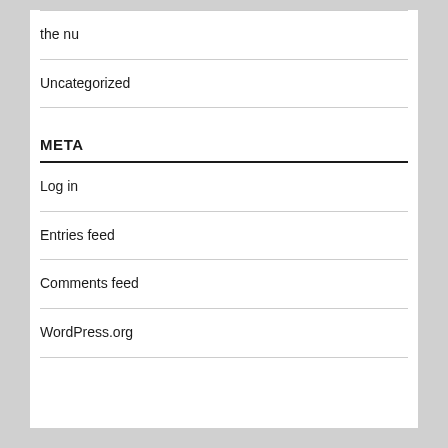the nu
Uncategorized
META
Log in
Entries feed
Comments feed
WordPress.org